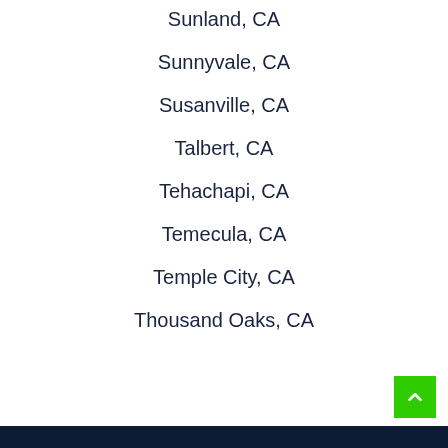Sunland, CA
Sunnyvale, CA
Susanville, CA
Talbert, CA
Tehachapi, CA
Temecula, CA
Temple City, CA
Thousand Oaks, CA